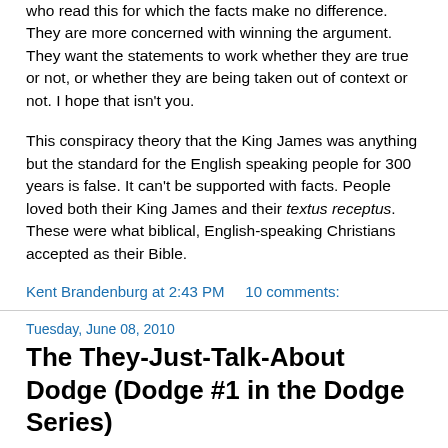who read this for which the facts make no difference. They are more concerned with winning the argument. They want the statements to work whether they are true or not, or whether they are being taken out of context or not. I hope that isn't you.
This conspiracy theory that the King James was anything but the standard for the English speaking people for 300 years is false. It can't be supported with facts. People loved both their King James and their textus receptus. These were what biblical, English-speaking Christians accepted as their Bible.
Kent Brandenburg at 2:43 PM     10 comments:
Tuesday, June 08, 2010
The They-Just-Talk-About Dodge (Dodge #1 in the Dodge Series)
[Figure (illustration): Small broken image placeholder icon in upper-left of image box]
If I'm a chronic liar, I want to change the subject from lying. It's a minor issue. What's important is